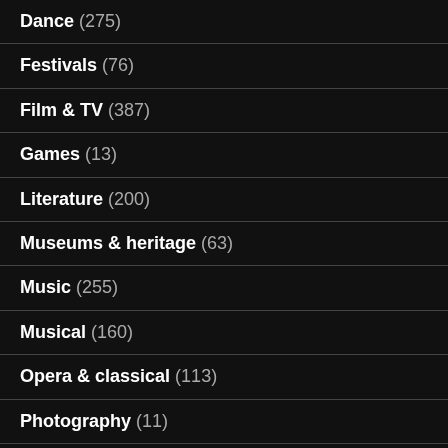Dance (275)
Festivals (76)
Film & TV (387)
Games (13)
Literature (200)
Museums & heritage (63)
Music (255)
Musical (160)
Opera & classical (113)
Photography (11)
Podcast (11)
Sport (20)
Theatre (1,350)